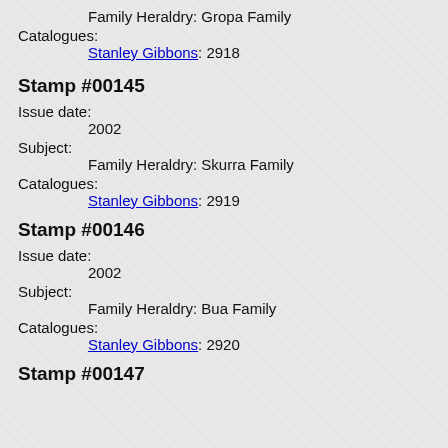Family Heraldry: Gropa Family
Catalogues:
Stanley Gibbons: 2918
Stamp #00145
Issue date:
2002
Subject:
Family Heraldry: Skurra Family
Catalogues:
Stanley Gibbons: 2919
Stamp #00146
Issue date:
2002
Subject:
Family Heraldry: Bua Family
Catalogues:
Stanley Gibbons: 2920
Stamp #00147